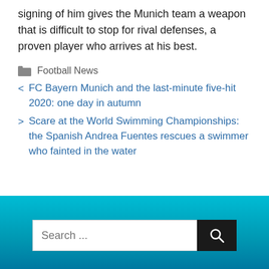signing of him gives the Munich team a weapon that is difficult to stop for rival defenses, a proven player who arrives at his best.
Football News
< FC Bayern Munich and the last-minute five-hit 2020: one day in autumn
> Scare at the World Swimming Championships: the Spanish Andrea Fuentes rescues a swimmer who fainted in the water
Search ...